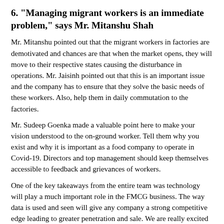6. "Managing migrant workers is an immediate problem," says Mr. Mitanshu Shah
Mr. Mitanshu pointed out that the migrant workers in factories are demotivated and chances are that when the market opens, they will move to their respective states causing the disturbance in operations. Mr. Jaisinh pointed out that this is an important issue and the company has to ensure that they solve the basic needs of these workers. Also, help them in daily commutation to the factories.
Mr. Sudeep Goenka made a valuable point here to make your vision understood to the on-ground worker. Tell them why you exist and why it is important as a food company to operate in Covid-19. Directors and top management should keep themselves accessible to feedback and grievances of workers.
One of the key takeaways from the entire team was technology will play a much important role in the FMCG business. The way data is used and seen will give any company a strong competitive edge leading to greater penetration and sale. We are really excited to be part of this journey of these companies. Thank you, panelists, for sharing your thoughts!